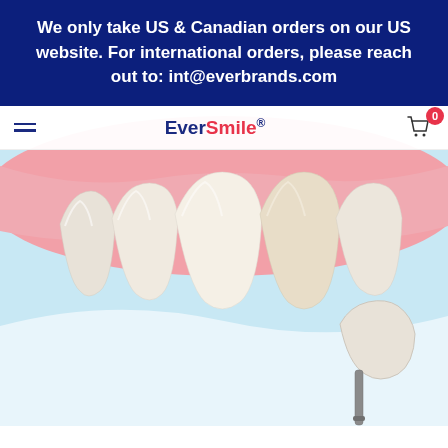We only take US & Canadian orders on our US website. For international orders, please reach out to: int@everbrands.com
[Figure (screenshot): EverSmile website screenshot showing a dental illustration with teeth and gums on a light blue background, with a veneer being placed on a tooth using a dental tool. Navigation bar with hamburger menu, EverSmile logo, and shopping cart icon showing 0 items.]
FACT OR FICTION: